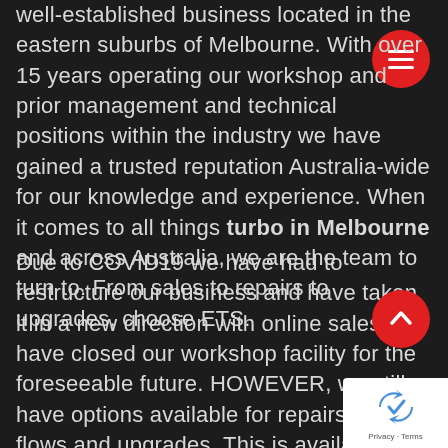well-established business located in the eastern suburbs of Melbourne. With over 15 years operating our workshop and prior management and technical positions within the industry we have gained a trusted reputation Australia-wide for our knowledge and experience. When it comes to all things turbo in Melbourne and across Australia, we are the team to turn to. From sales to repairs to upgrades, choose ETS.
Due to COVID19 we have had to restructure our business and have taken it in a new direction with online sales and have closed our workshop facility for the foreseeable future. HOWEVER, we still have options available for repairs, high flows and upgrades. This is available throughout Australia with postage/freight options and turnaround times will still be competitive in